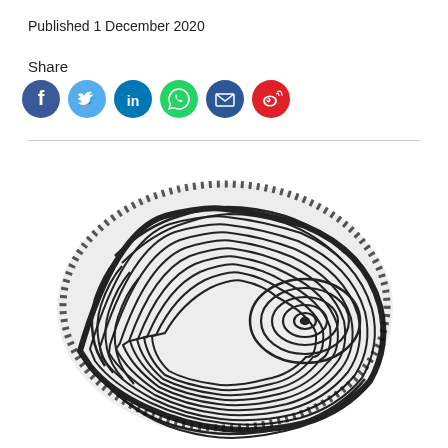Published 1 December 2020
Share
[Figure (illustration): Social media share buttons: Facebook (blue), Twitter (light blue), LinkedIn (blue), WhatsApp (green), Email (dark blue), Weibo (red)]
[Figure (photo): A high-contrast black and white fingerprint image showing ridge patterns including a spiral whorl on the right side]